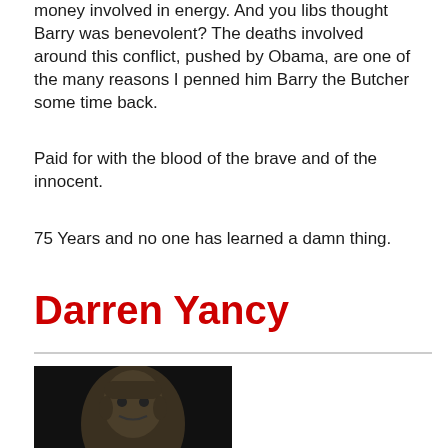money involved in energy. And you libs thought Barry was benevolent? The deaths involved around this conflict, pushed by Obama, are one of the many reasons I penned him Barry the Butcher some time back.
Paid for with the blood of the brave and of the innocent.
75 Years and no one has learned a damn thing.
Darren Yancy
[Figure (photo): Portrait photo of a person with short hair against a dark background]